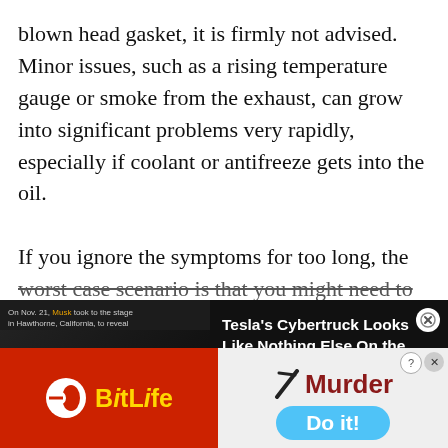blown head gasket, it is firmly not advised. Minor issues, such as a rising temperature gauge or smoke from the exhaust, can grow into significant problems very rapidly, especially if coolant or antifreeze gets into the oil.

If you ignore the symptoms for too long, the worst case scenario is that you might need to
[Figure (screenshot): Video advertisement featuring a person on stage (Elon Musk) with text overlay 'Tesla's Cybertruck Looks Like Nothing Else On the Road' and a close button.]
[Figure (screenshot): Two banner ads side by side: left is BitLife app ad with red background and yellow logo; right is a mobile game ad showing knife/murder theme with 'Do it!' button on light blue pill button.]